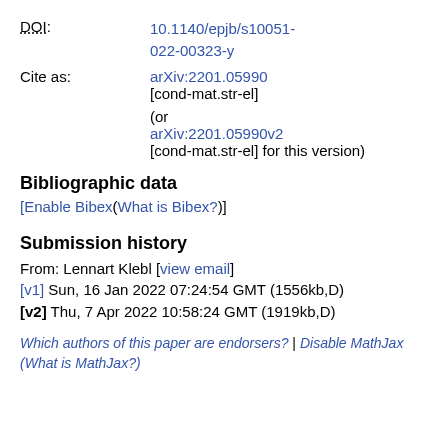DOI: 10.1140/epjb/s10051-022-00323-y
Cite as: arXiv:2201.05990 [cond-mat.str-el] (or arXiv:2201.05990v2 [cond-mat.str-el] for this version)
Bibliographic data
[Enable Bibex(What is Bibex?)]
Submission history
From: Lennart Klebl [view email]
[v1] Sun, 16 Jan 2022 07:24:54 GMT (1556kb,D)
[v2] Thu, 7 Apr 2022 10:58:24 GMT (1919kb,D)
Which authors of this paper are endorsers? | Disable MathJax (What is MathJax?)